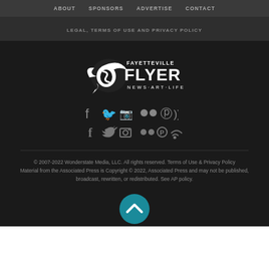ABOUT   SPONSORS   ADVERTISE   CONTACT
LEGAL, TERMS OF USE AND PRIVACY POLICY
[Figure (logo): Fayetteville Flyer logo — white stylized bird/leaf mark with 'FAYETTEVILLE FLYER NEWS·ART·LIFE' text]
[Figure (infographic): Social media icons row: Facebook, Twitter, Instagram, Flickr, Pinterest, RSS — all in grey]
© 2007-2022 Wonderstate Media, LLC. All rights reserved. Terms of Use & Privacy Policy
Material from the Associated Press is Copyright © 2022, Associated Press and may not be published, broadcast, rewritten, or redistributed. See AP policy.